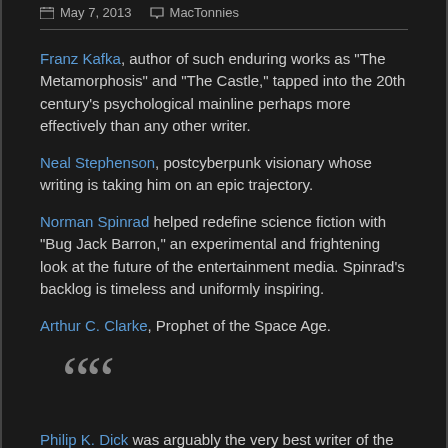May 7, 2013  MacTonnies
Franz Kafka, author of such enduring works as "The Metamorphosis" and "The Castle," tapped into the 20th century's psychological mainline perhaps more effectively than any other writer.
Neal Stephenson, postcyberpunk visionary whose writing is taking him on an epic trajectory.
Norman Spinrad helped redefine science fiction with "Bug Jack Barron," an experimental and frightening look at the future of the entertainment media. Spinrad's backlog is timeless and uniformly inspiring.
Arthur C. Clarke, Prophet of the Space Age.
[Figure (illustration): Large decorative opening quotation mark icon in grey]
Philip K. Dick was arguably the very best writer of the 20th century. His canon — paranoid, playful and chilling